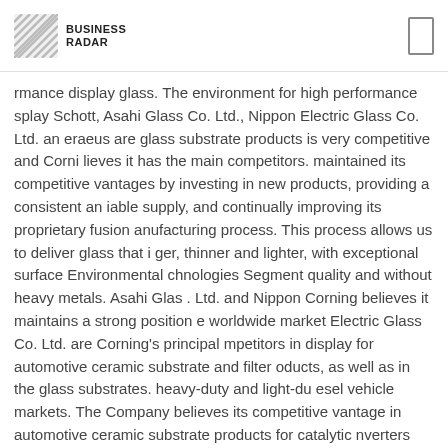BUSINESS RADAR
rmance display glass. The environment for high performance splay Schott, Asahi Glass Co. Ltd., Nippon Electric Glass Co. Ltd. an eraeus are glass substrate products is very competitive and Corni lieves it has the main competitors. maintained its competitive vantages by investing in new products, providing a consistent an iable supply, and continually improving its proprietary fusion anufacturing process. This process allows us to deliver glass that i ger, thinner and lighter, with exceptional surface Environmental chnologies Segment quality and without heavy metals. Asahi Glas . Ltd. and Nippon Corning believes it maintains a strong position e worldwide market Electric Glass Co. Ltd. are Corning's principal mpetitors in display for automotive ceramic substrate and filter oducts, as well as in the glass substrates. heavy-duty and light-du esel vehicle markets. The Company believes its competitive vantage in automotive ceramic substrate products for catalytic nverters and filter products for particulate emissions Optical mmunications Segment in exhaust systems is based on an